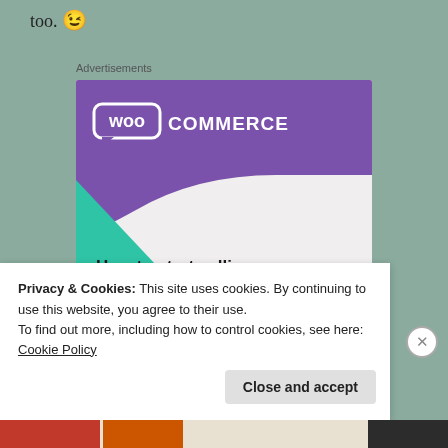too. 😉
Advertisements
[Figure (illustration): WooCommerce advertisement banner showing the WooCommerce logo on a purple background, decorative green triangle and blue circle shapes, headline text 'How to start selling subscriptions online', and a purple 'Start a new store' button.]
Privacy & Cookies: This site uses cookies. By continuing to use this website, you agree to their use.
To find out more, including how to control cookies, see here: Cookie Policy
Close and accept